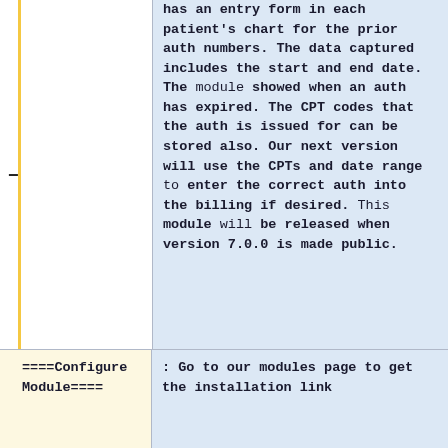has an entry form in each patient's chart for the prior auth numbers. The data captured includes the start and end date. The module showed when an auth has expired. The CPT codes that the auth is issued for can be stored also. Our next version will use the CPTs and date range to enter the correct auth into the billing if desired. This module will be released when version 7.0.0 is made public.
====Configure Module====
: Go to our modules page to get the installation link